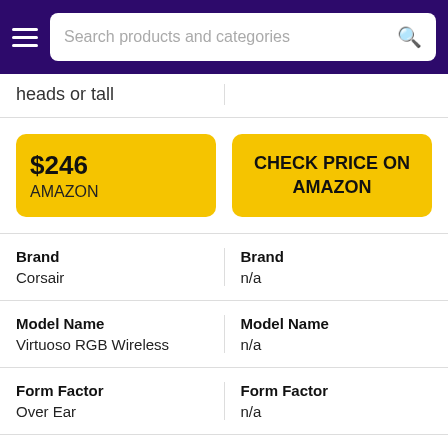Search products and categories
heads or tall
$246 AMAZON
CHECK PRICE ON AMAZON
| Brand | Brand |
| --- | --- |
| Corsair | n/a |
| Model Name | Model Name |
| --- | --- |
| Virtuoso RGB Wireless | n/a |
| Form Factor | Form Factor |
| --- | --- |
| Over Ear | n/a |
More specs